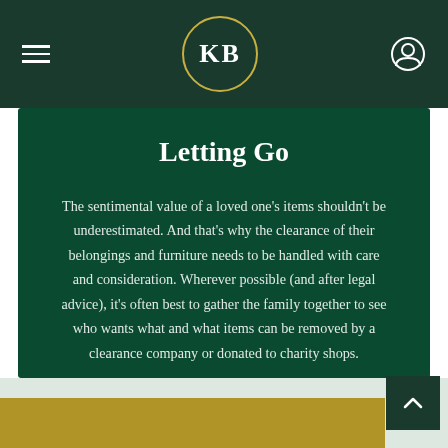KB — navigation header with hamburger menu, KB logo circle, and user icon
Letting Go
The sentimental value of a loved one's items shouldn't be underestimated. And that's why the clearance of their belongings and furniture needs to be handled with care and consideration. Wherever possible (and after legal advice), it's often best to gather the family together to see who wants what and what items can be removed by a clearance company or donated to charity shops.